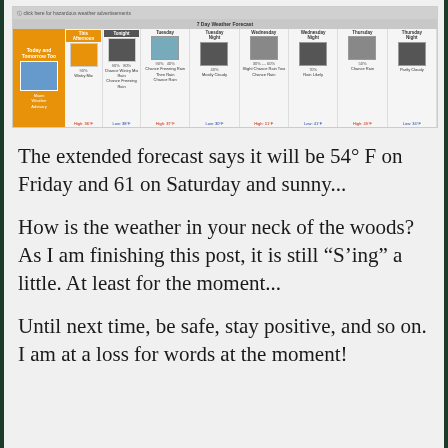[Figure (screenshot): A weather forecast screenshot showing an extended 7-day forecast with conditions including Wintry Mix, Chance Rain, Freezing Rain, Mostly Cloudy, Slight Chance Rain, Rain Likely, Chance Rain, Partly Cloudy, with temperatures and percentages.]
The extended forecast says it will be 54° F on Friday and 61 on Saturday and sunny...
How is the weather in your neck of the woods? As I am finishing this post, it is still “S’ing” a little. At least for the moment...
Until next time, be safe, stay positive, and so on. I am at a loss for words at the moment!